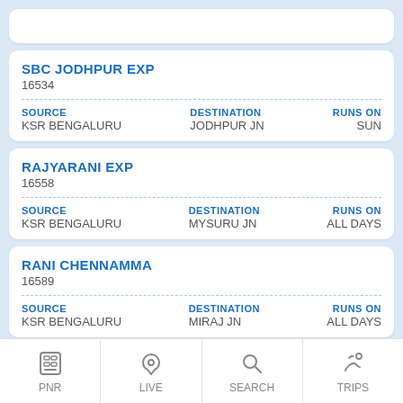SBC JODHPUR EXP
16534
SOURCE: KSR BENGALURU | DESTINATION: JODHPUR JN | RUNS ON: SUN
RAJYARANI EXP
16558
SOURCE: KSR BENGALURU | DESTINATION: MYSURU JN | RUNS ON: ALL DAYS
RANI CHENNAMMA
16589
SOURCE: KSR BENGALURU | DESTINATION: MIRAJ JN | RUNS ON: ALL DAYS
SESHADRI EXPRES
172...
SOURCE: KSR BENGALURU | DESTINATION: ... | RUNS ON: ...
PNR | LIVE | SEARCH | TRIPS